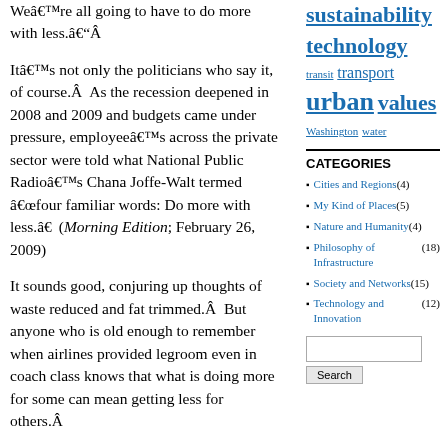We’re all going to have to do more with less.“Â
It’s not only the politicians who say it, of course.Â As the recession deepened in 2008 and 2009 and budgets came under pressure, employee’s across the private sector were told what National Public Radio’s Chana Joffe-Walt termed “four familiar words: Do more with less.” (Morning Edition; February 26, 2009)
It sounds good, conjuring up thoughts of waste reduced and fat trimmed.Â But anyone who is old enough to remember when airlines provided legroom even in coach class knows that what is doing more for some can mean getting less for others.Â
sustainabilityÂ technology
transit transport
urban values
Washington water
CATEGORIES
Cities and Regions (4)
My Kind of Places (5)
Nature and Humanity (4)
Philosophy of Infrastructure (18)
Society and Networks (15)
Technology and Innovation (12)